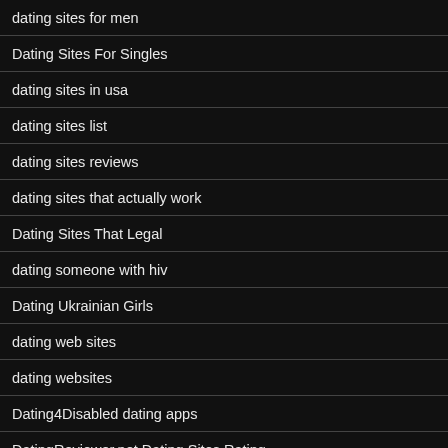dating sites for men
Dating Sites For Singles
dating sites in usa
dating sites list
dating sites reviews
dating sites that actually work
Dating Sites That Legal
dating someone with hiv
Dating Ukrainian Girls
dating web sites
dating websites
Dating4Disabled dating apps
DatingReviewer.net Dating Sites Rating